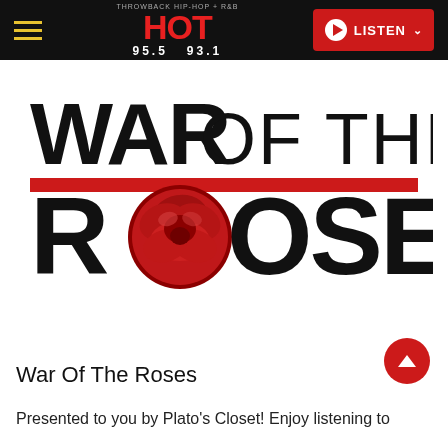HOT 95.5 93.1 — LISTEN
[Figure (logo): War Of The Roses logo: large bold black text 'WAR OF THE' above a thick red horizontal bar, then bold black 'ROSES' with a red rose photo replacing the letter O]
War Of The Roses
Presented to you by Plato's Closet! Enjoy listening to